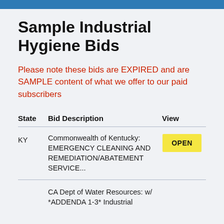Sample Industrial Hygiene Bids
Please note these bids are EXPIRED and are SAMPLE content of what we offer to our paid subscribers
| State | Bid Description | View |
| --- | --- | --- |
| KY | Commonwealth of Kentucky: EMERGENCY CLEANING AND REMEDIATION/ABATEMENT SERVICE... | OPEN |
|  | CA Dept of Water Resources: w/ *ADDENDA 1-3* Industrial |  |